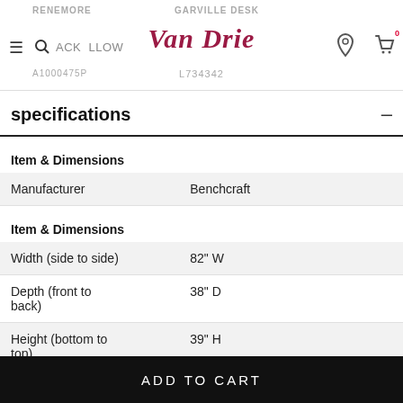RENEMORE | Van Drie | GARVILLE DESK | BLACK PILLOW | A1000475P | L734342
specifications
|  |  |
| --- | --- |
| Item & Dimensions |  |
| Manufacturer | Benchcraft |
| Item & Dimensions |  |
| Width (side to side) | 82" W |
| Depth (front to back) | 38" D |
| Height (bottom to top) | 39" H |
| Arm height | 30" |
ADD TO CART